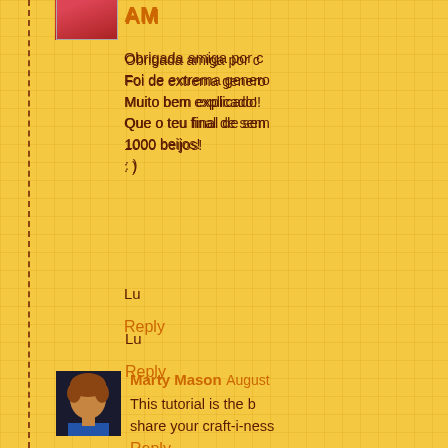AM
Obrigada amiga por c... Foi de extrema genero... Muito bem explicado! Que o teu final de sem... 1000 beijos! : )
Lu
Reply
Marty Mason August...
This tutorial is the b... share your craft-i-ness...
Reply
Serena August 31, 20...
That`s what I was loo... you!!!
Reply